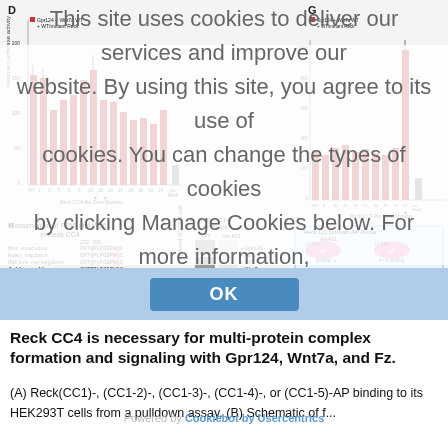[Figure (other): Multi-panel scientific figure showing panels D (bar chart, red, Gpr124+Wnt7a WT + WT/mutant Reck), E (list of Reck CC4 Ala scan mutants), F (IP:Input and IP:NubAntenin western blots), G (bar chart, red, Gpr124+Wnt7a WT + WT/mutant Reck), H (Conservation of P255 and W261 in Reck CC4 with species alignment), I (Reck CC1-5 AP Probe: WT vs Ala #21 in HEK293T cells), J (Reck CC Domain AP Probe diagram). Overlaid with a cookie consent banner.]
This site uses cookies to deliver our services and improve our website. By using this site, you agree to its use of cookies. You can change the types of cookies by clicking Manage Cookies below. For more information, please see our policy.
OK
Reck CC4 is necessary for multi-protein complex formation and signaling with Gpr124, Wnt7a, and Fz.
(A) Reck(CC1)-, (CC1-2)-, (CC1-3)-, (CC1-4)-, or (CC1-5)-AP binding to its HEK293T cells from a pulldown assay. (B) Schematic of f...
Powered by Cookiebot by Usercentrics